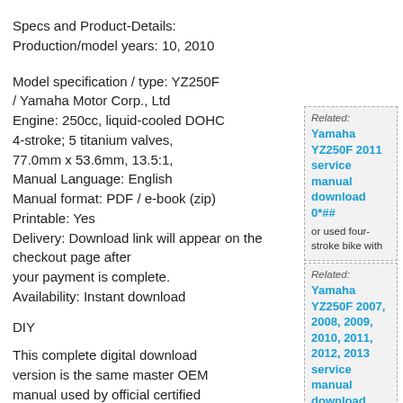Specs and Product-Details:
Production/model years: 10, 2010
Model specification / type: YZ250F / Yamaha Motor Corp., Ltd
Engine: 250cc, liquid-cooled DOHC 4-stroke; 5 titanium valves, 77.0mm x 53.6mm, 13.5:1,
Manual Language: English
Manual format: PDF / e-book (zip)
Printable: Yes
Delivery: Download link will appear on the checkout page after your payment is complete.
Availability: Instant download
Related: Yamaha YZ250F 2011 service manual download 0*## or used four-stroke bike with
DIY
Related: Yamaha YZ250F 2007, 2008, 2009, 2010, 2011, 2012, 2013 service manual download 0*##
This complete digital download version is the same master OEM manual used by official certified professional Yamaha 2010 bike mechanics and by local